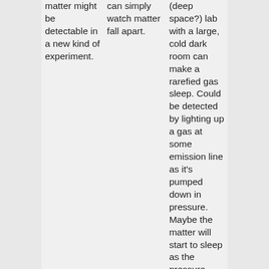matter might be detectable in a new kind of experiment.
can simply watch matter fall apart.
(deep space?) lab with a large, cold dark room can make a rarefied gas sleep. Could be detected by lighting up a gas at some emission line as it's pumped down in pressure. Maybe the matter will start to sleep as the pressure drops. Make a graph of pressure as measured by some direct method, and